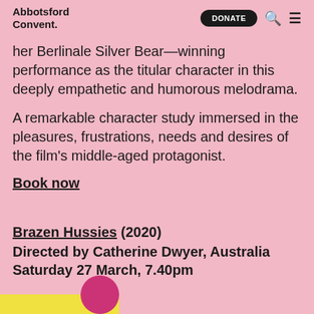Abbotsford Convent. | DONATE
her Berlinale Silver Bear—winning performance as the titular character in this deeply empathetic and humorous melodrama.
A remarkable character study immersed in the pleasures, frustrations, needs and desires of the film's middle-aged protagonist.
Book now
Brazen Hussies (2020)
Directed by Catherine Dwyer, Australia
Saturday 27 March, 7.40pm